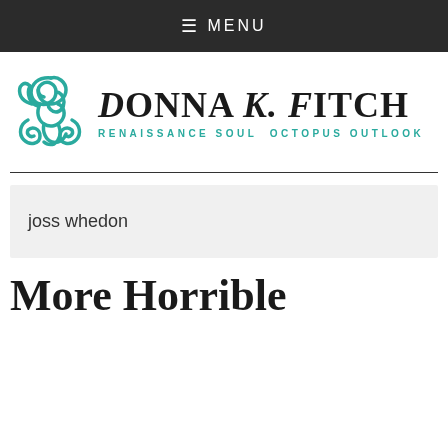≡ MENU
[Figure (logo): Donna K. Fitch logo with teal Celtic knot/octopus symbol on left and text 'Donna K. Fitch' in decorative serif font, with subtitle 'RENAISSANCE SOUL OCTOPUS OUTLOOK' in teal]
joss whedon
More Horrible